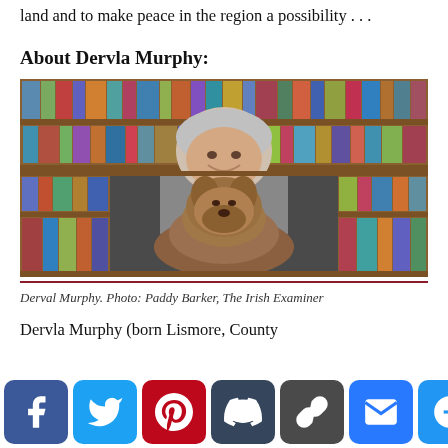land and to make peace in the region a possibility . . .
About Dervla Murphy:
[Figure (photo): Dervla Murphy seated in front of bookshelves filled with books, holding a brown terrier dog. She has short gray-white hair and is wearing a dark jacket.]
Derval Murphy. Photo: Paddy Barker, The Irish Examiner
Dervla Murphy (born Lismore, County a o 9 w le mined to write, not to marry and to travel to